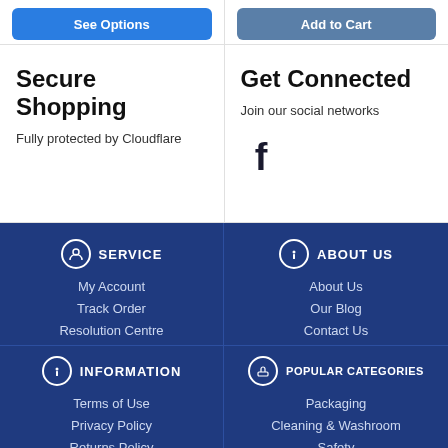[Figure (other): Partial blue button labeled 'See Options' on the left and partial blue button labeled 'Add to Cart' on the right]
Secure Shopping
Fully protected by Cloudflare
Get Connected
Join our social networks
[Figure (illustration): Facebook icon (f logo)]
SERVICE
My Account
Track Order
Resolution Centre
ABOUT US
About Us
Our Blog
Contact Us
INFORMATION
Terms of Use
Privacy Policy
Returns Policy
POPULAR CATEGORIES
Packaging
Cleaning & Washroom
Safety